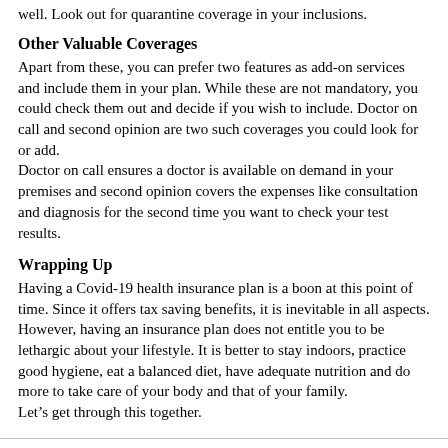well. Look out for quarantine coverage in your inclusions.
Other Valuable Coverages
Apart from these, you can prefer two features as add-on services and include them in your plan. While these are not mandatory, you could check them out and decide if you wish to include. Doctor on call and second opinion are two such coverages you could look for or add.
Doctor on call ensures a doctor is available on demand in your premises and second opinion covers the expenses like consultation and diagnosis for the second time you want to check your test results.
Wrapping Up
Having a Covid-19 health insurance plan is a boon at this point of time. Since it offers tax saving benefits, it is inevitable in all aspects. However, having an insurance plan does not entitle you to be lethargic about your lifestyle. It is better to stay indoors, practice good hygiene, eat a balanced diet, have adequate nutrition and do more to take care of your body and that of your family.
Let’s get through this together.